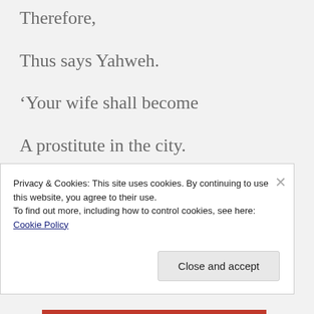Therefore,
Thus says Yahweh.
‘Your wife shall become
A prostitute in the city.
Your sons,
Your daughters,
Privacy & Cookies: This site uses cookies. By continuing to use this website, you agree to their use.
To find out more, including how to control cookies, see here: Cookie Policy
Close and accept